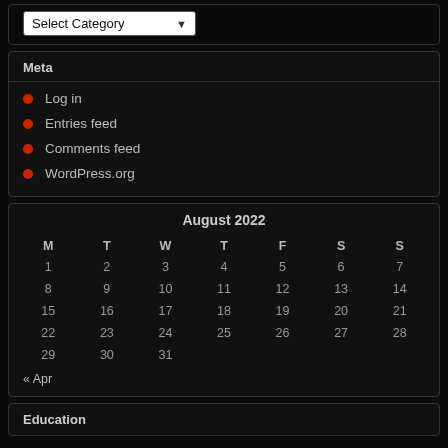Select Category
Meta
Log in
Entries feed
Comments feed
WordPress.org
| M | T | W | T | F | S | S |
| --- | --- | --- | --- | --- | --- | --- |
| 1 | 2 | 3 | 4 | 5 | 6 | 7 |
| 8 | 9 | 10 | 11 | 12 | 13 | 14 |
| 15 | 16 | 17 | 18 | 19 | 20 | 21 |
| 22 | 23 | 24 | 25 | 26 | 27 | 28 |
| 29 | 30 | 31 |  |  |  |  |
« Apr
Education